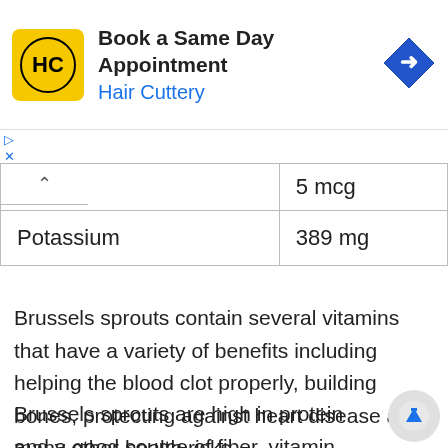[Figure (other): Hair Cuttery advertisement banner with logo and 'Book a Same Day Appointment' text]
| ...late | 5 mcg |
| Potassium | 389 mg |
Brussels sprouts contain several vitamins that have a variety of benefits including helping the blood clot properly, building bones, protecting against heart disease and many other health risks.
Brussels sprouts are high in protein and a good source of fiber, vitamin C, manganese,